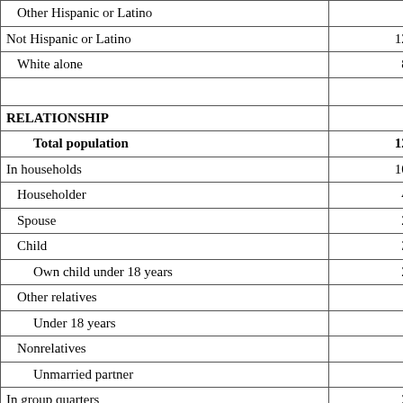| Category | Value |
| --- | --- |
| Other Hispanic or Latino | 176 |
| Not Hispanic or Latino | 12,382 |
| White alone | 8,762 |
|  |  |
| RELATIONSHIP |  |
| Total population | 12,950 |
| In households | 10,916 |
| Householder | 4,598 |
| Spouse | 2,189 |
| Child | 3,062 |
| Own child under 18 years | 2,469 |
| Other relatives | 530 |
| Under 18 years | 255 |
| Nonrelatives | 537 |
| Unmarried partner | 196 |
| In group quarters | 2,034 |
| Institutionalized population | 363 |